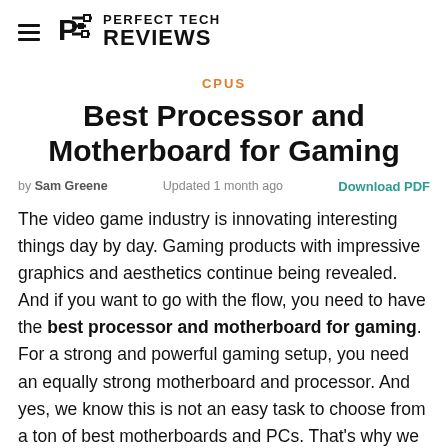PERFECT TECH REVIEWS
CPUS
Best Processor and Motherboard for Gaming
by Sam Greene   Updated 1 month ago   Download PDF
The video game industry is innovating interesting things day by day. Gaming products with impressive graphics and aesthetics continue being revealed. And if you want to go with the flow, you need to have the best processor and motherboard for gaming. For a strong and powerful gaming setup, you need an equally strong motherboard and processor. And yes, we know this is not an easy task to choose from a ton of best motherboards and PCs. That's why we thought to make an in-depth best motherboards and processors for